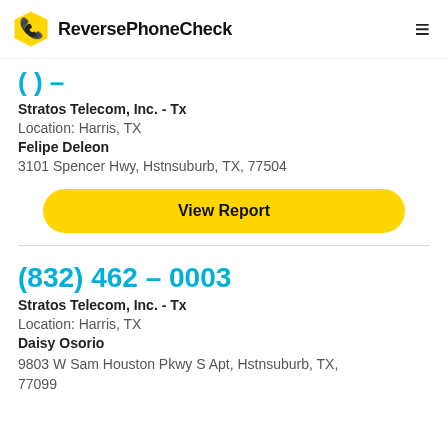ReversePhoneCheck
Stratos Telecom, Inc. - Tx
Location: Harris, TX
Felipe Deleon
3101 Spencer Hwy, Hstnsuburb, TX, 77504
View Report
(832) 462 – 0003
Stratos Telecom, Inc. - Tx
Location: Harris, TX
Daisy Osorio
9803 W Sam Houston Pkwy S Apt, Hstnsuburb, TX, 77099